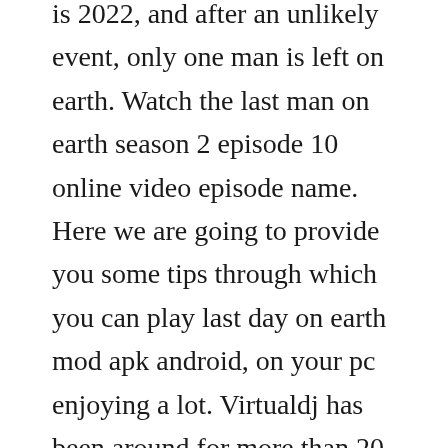is 2022, and after an unlikely event, only one man is left on earth. Watch the last man on earth season 2 episode 10 online video episode name. Here we are going to provide you some tips through which you can play last day on earth mod apk android, on your pc enjoying a lot. Virtualdj has been around for more than 20 years, and has been downloaded by more than 118,000,000 people, making virtualdj the most downloaded dj software on earth. Stream naked and afraid free with your tv subscription.
Stream on your site, watch the last man on earth